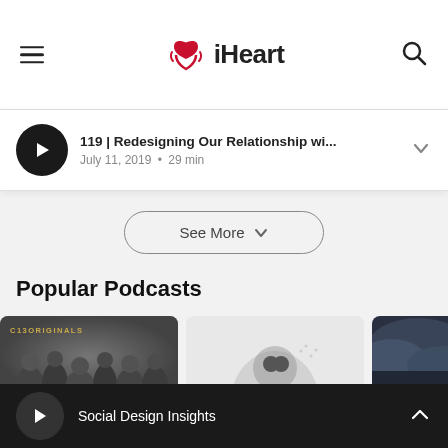iHeart
119 | Redesigning Our Relationship wi... July 11, 2019 • 29 min
See More
Popular Podcasts
[Figure (screenshot): Podcast thumbnail 1: C13Originals with crowd of figures]
[Figure (screenshot): Podcast thumbnail 2: light background with partial figure]
[Figure (screenshot): Podcast thumbnail 3: dark stormy sky]
Social Design Insights